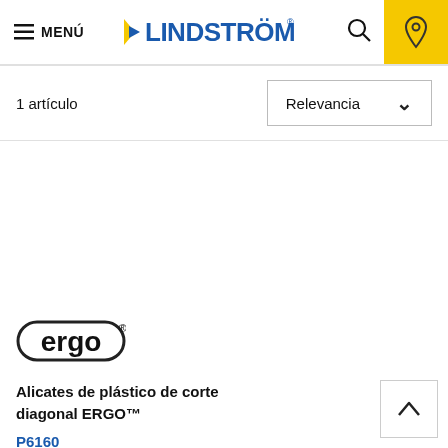MENÚ — LINDSTRÖM — Search — Location
1 artículo
Relevancia
[Figure (logo): ergo® brand logo — rounded rectangle with the word 'ergo' in bold lowercase with a registered trademark symbol]
Alicates de plástico de corte diagonal ERGO™
P6160